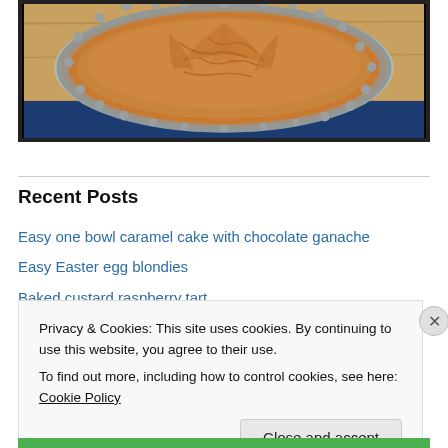[Figure (photo): A baked custard tart or pie in a metal fluted pan, sitting on a wooden cutting board with a blue surface below. The pie has a golden-brown crust.]
Recent Posts
Easy one bowl caramel cake with chocolate ganache
Easy Easter egg blondies
Baked custard raspberry tart
Privacy & Cookies: This site uses cookies. By continuing to use this website, you agree to their use.
To find out more, including how to control cookies, see here: Cookie Policy